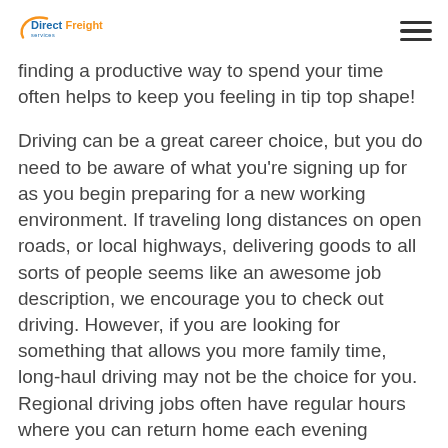DirectFreight [logo] [hamburger menu]
finding a productive way to spend your time often helps to keep you feeling in tip top shape!
Driving can be a great career choice, but you do need to be aware of what you're signing up for as you begin preparing for a new working environment. If traveling long distances on open roads, or local highways, delivering goods to all sorts of people seems like an awesome job description, we encourage you to check out driving. However, if you are looking for something that allows you more family time, long-haul driving may not be the choice for you. Regional driving jobs often have regular hours where you can return home each evening though, so driving may not be entirely out of the picture!
Service in a Different Realm